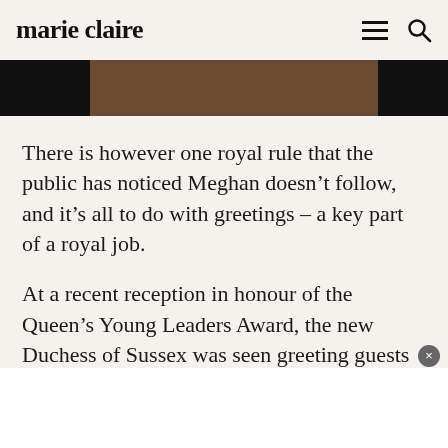marie claire
[Figure (photo): Partial photograph showing dark background with a figure, cropped to a narrow horizontal strip at the top of the article.]
There is however one royal rule that the public has noticed Meghan doesn’t follow, and it’s all to do with greetings – a key part of a royal job.
At a recent reception in honour of the Queen’s Young Leaders Award, the new Duchess of Sussex was seen greeting guests alongside her husband and grandmother-in-law, the Queen